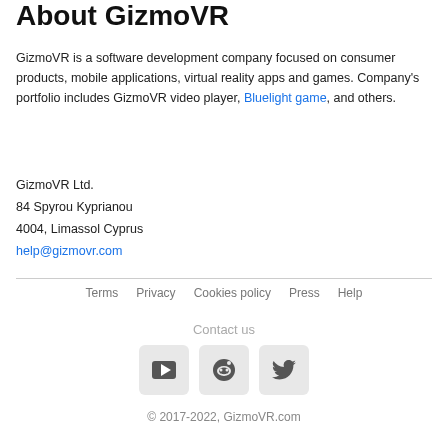About GizmoVR
GizmoVR is a software development company focused on consumer products, mobile applications, virtual reality apps and games. Company's portfolio includes GizmoVR video player, Bluelight game, and others.
GizmoVR Ltd.
84 Spyrou Kyprianou
4004, Limassol Cyprus
help@gizmovr.com
Terms
Privacy
Cookies policy
Press
Help
Contact us
[Figure (other): YouTube icon button]
[Figure (other): Reddit icon button]
[Figure (other): Twitter icon button]
© 2017-2022, GizmoVR.com